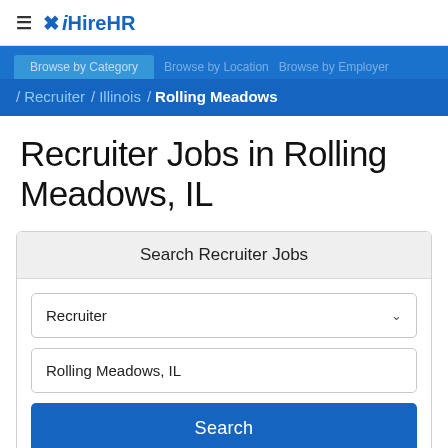≡ iHireHR
Browse by Category / Recruiter / Illinois / Rolling Meadows
Recruiter Jobs in Rolling Meadows, IL
Search Recruiter Jobs
Recruiter
Rolling Meadows, IL
Search
1-15 of 314 Jobs